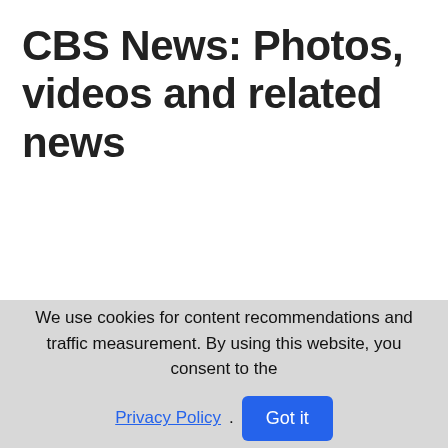CBS News: Photos, videos and related news
We use cookies for content recommendations and traffic measurement. By using this website, you consent to the Privacy Policy. Got it